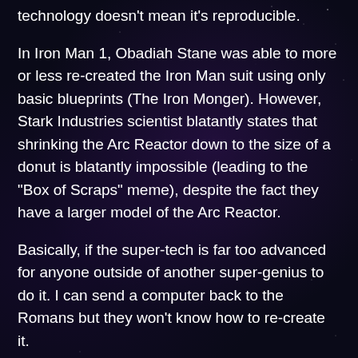technology doesn't mean it's reproducible.
In Iron Man 1, Obadiah Stane was able to more or less re-created the Iron Man suit using only basic blueprints (The Iron Monger). However, Stark Industries scientist blatantly states that shrinking the Arc Reactor down to the size of a donut is blatantly impossible (leading to the “Box of Scraps” meme), despite the fact they have a larger model of the Arc Reactor.
Basically, if the super-tech is far too advanced for anyone outside of another super-genius to do it. I can send a computer back to the Romans but they won’t know how to re-create it.